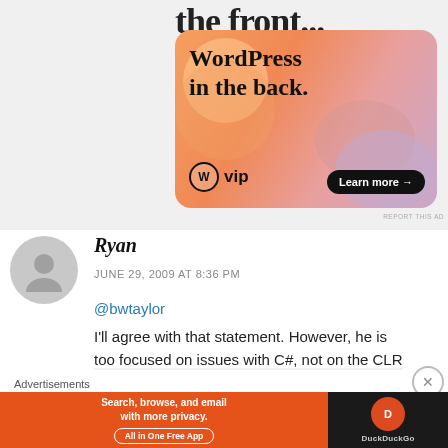[Figure (screenshot): WordPress VIP advertisement banner with orange/pink gradient background showing 'WordPress in the back.' text with W VIP logo and 'Learn more →' button]
REPORT THIS AD
Ryan
JUNE 29, 2009 AT 8:36 PM
@bwtaylor
I'll agree with that statement. However, he is too focused on issues with C#, not on the CLR
Advertisements
[Figure (screenshot): DuckDuckGo advertisement: orange background with 'Search, browse, and email with more privacy. All in One Free App' and DuckDuckGo logo on dark background]